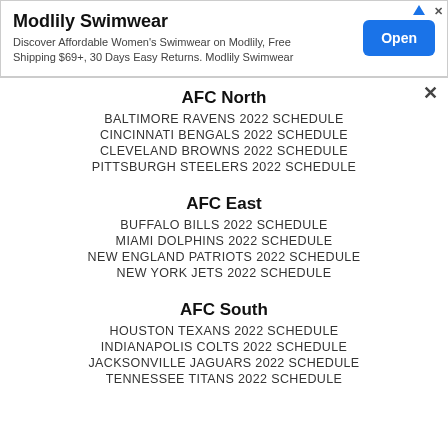[Figure (other): Advertisement banner for Modlily Swimwear with Open button]
AFC North
BALTIMORE RAVENS 2022 SCHEDULE
CINCINNATI BENGALS 2022 SCHEDULE
CLEVELAND BROWNS 2022 SCHEDULE
PITTSBURGH STEELERS 2022 SCHEDULE
AFC East
BUFFALO BILLS 2022 SCHEDULE
MIAMI DOLPHINS 2022 SCHEDULE
NEW ENGLAND PATRIOTS 2022 SCHEDULE
NEW YORK JETS 2022 SCHEDULE
AFC South
HOUSTON TEXANS 2022 SCHEDULE
INDIANAPOLIS COLTS 2022 SCHEDULE
JACKSONVILLE JAGUARS 2022 SCHEDULE
TENNESSEE TITANS 2022 SCHEDULE